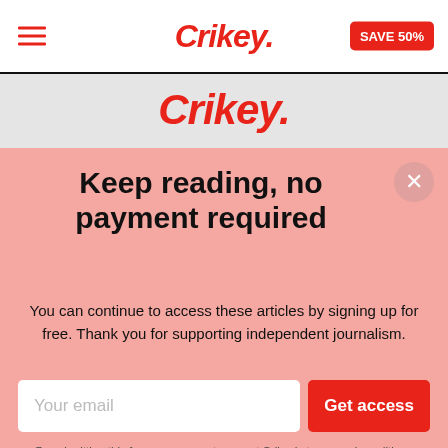Crikey. SAVE 50%
Crikey.
Keep reading, no payment required
You can continue to access these articles by signing up for free. Thank you for supporting independent journalism.
Your email  Get access
By submitting this form, you agree to accept Crikey's terms and conditions
I'll do this later